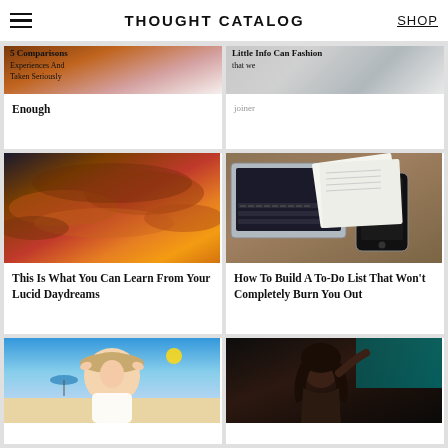THOUGHT CATALOG | SHOP
Enough
[Figure (photo): Dramatic sunset sky with orange and red clouds]
This Is What You Can Learn From Your Lucid Daydreams
[Figure (photo): Laptop and smartphone on a wooden desk with papers]
How To Build A To-Do List That Won't Completely Burn You Out
[Figure (photo): Young woman with hat at beach]
[Figure (photo): Woman leaning against wall in dark setting]